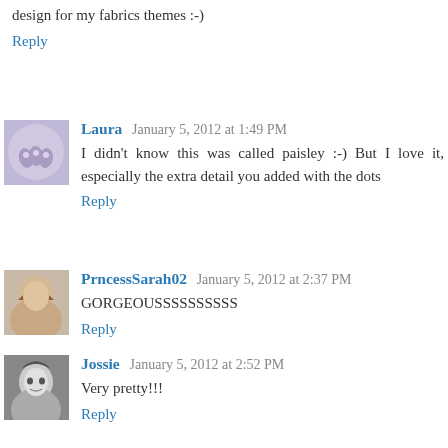design for my fabrics themes :-)
Reply
Laura  January 5, 2012 at 1:49 PM
I didn't know this was called paisley :-) But I love it, especially the extra detail you added with the dots
Reply
PrncessSarah02  January 5, 2012 at 2:37 PM
GORGEOUSSSSSSSSSS
Reply
Jossie  January 5, 2012 at 2:52 PM
Very pretty!!!
Reply